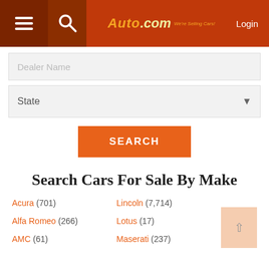Auto.com - We're Selling Cars! | Login
Dealer Name
State
SEARCH
Search Cars For Sale By Make
Acura (701)
Lincoln (7,714)
Alfa Romeo (266)
Lotus (17)
AMC (61)
Maserati (237)